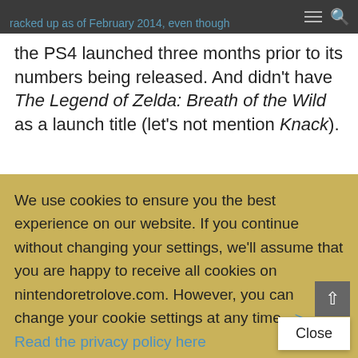racked up as of February 2014, even though
the PS4 launched three months prior to its numbers being released. And didn't have The Legend of Zelda: Breath of the Wild as a launch title (let's not mention Knack).
We use cookies to ensure you the best experience on our website. If you continue without changing your settings, we'll assume that you are happy to receive all cookies on nintendoretrolove.com. However, you can change your cookie settings at any time. -> Read the privacy policy here